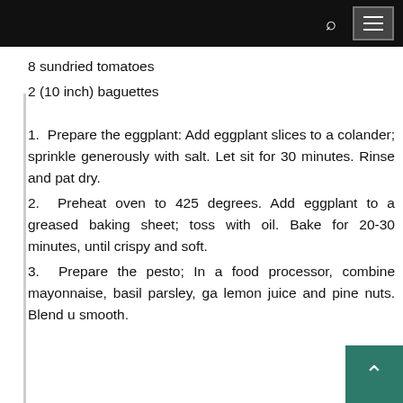[navigation bar with search and menu icons]
8 sundried tomatoes
2 (10 inch) baguettes
1.  Prepare the eggplant: Add eggplant slices to a colander; sprinkle generously with salt. Let sit for 30 minutes. Rinse and pat dry.
2.  Preheat oven to 425 degrees. Add eggplant to a greased baking sheet; toss with oil. Bake for 20-30 minutes, until crispy and soft.
3.  Prepare the pesto; In a food processor, combine mayonnaise, basil parsley, ga lemon juice and pine nuts. Blend u smooth.